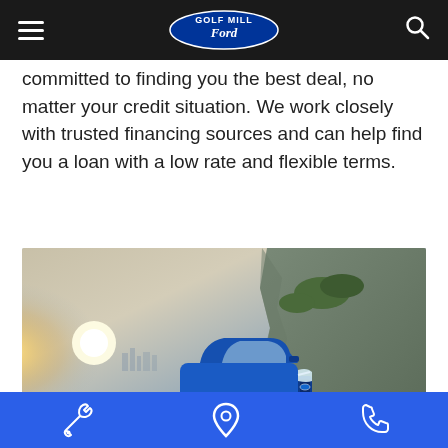Golf Mill Ford — navigation header with hamburger menu and search icon
committed to finding you the best deal, no matter your credit situation. We work closely with trusted financing sources and can help find you a loan with a low rate and flexible terms.
[Figure (photo): A blue Ford SUV (Ford Edge ST) driving on a winding mountain road at sunset, with rocky cliffs on the right and a city skyline visible in the distant background. Bright sun flare on the left.]
Footer bar with wrench icon, map pin icon, and phone icon